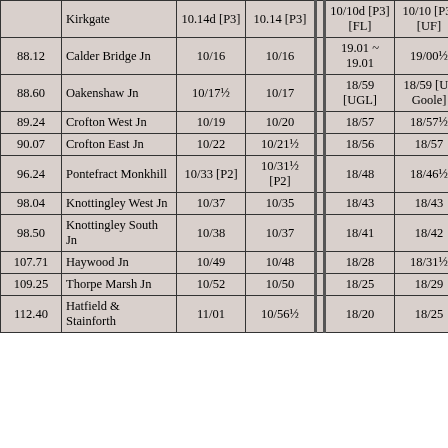|  | Location | Col3 | Col4 |  | Col6 | Col7 | Col8 |
| --- | --- | --- | --- | --- | --- | --- | --- |
|  | Kirkgate | 10.14d [P3] | 10.14 [P3] |  | 10/10d [P3] [FL] | 10/10 [P3] [UF] | 296.33 |
| 88.12 | Calder Bridge Jn | 10/16 | 10/16 |  | 19.01 ~ 19.01 | 19/00½ | 298.04 |
| 88.60 | Oakenshaw Jn | 10/17½ | 10/17 |  | 18/59 [UGL] | 18/59 [Up Goole] | - |
| 89.24 | Crofton West Jn | 10/19 | 10/20 |  | 18/57 | 18/57½ | 296.72 |
| 90.07 | Crofton East Jn | 10/22 | 10/21½ |  | 18/56 | 18/57 | - |
| 96.24 | Pontefract Monkhill | 10/33 [P2] | 10/31½ [P2] |  | 18/48 | 18/46½ | 289.72 |
| 98.04 | Knottingley West Jn | 10/37 | 10/35 |  | 18/43 | 18/43 | - |
| 98.50 | Knottingley South Jn | 10/38 | 10/37 |  | 18/41 | 18/42 | - |
| 107.71 | Haywood Jn | 10/49 | 10/48 |  | 18/28 | 18/31½ | 278.25 |
| 109.25 | Thorpe Marsh Jn | 10/52 | 10/50 |  | 18/25 | 18/29 | 276.71 |
| 112.40 | Hatfield & ... | 11/01 | 10/56½ |  | 18/20 | 18/25 |  |